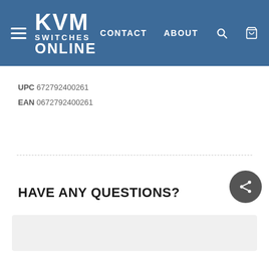KVM SWITCHES ONLINE — CONTACT  ABOUT
UPC 672792400261
EAN 0672792400261
HAVE ANY QUESTIONS?